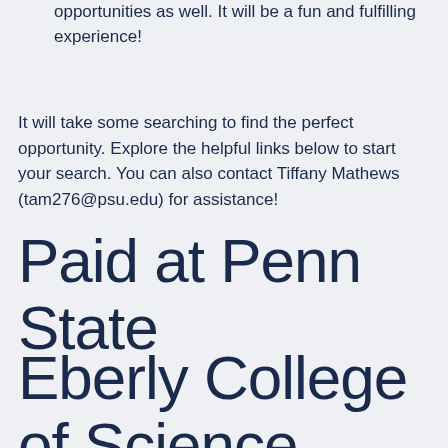opportunities as well. It will be a fun and fulfilling experience!
It will take some searching to find the perfect opportunity. Explore the helpful links below to start your search. You can also contact Tiffany Mathews (tam276@psu.edu) for assistance!
Paid at Penn State
Eberly College of Science